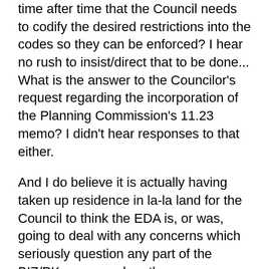time after time that the Council needs to codify the desired restrictions into the codes so they can be enforced? I hear no rush to insist/direct that to be done... What is the answer to the Councilor's request regarding the incorporation of the Planning Commission's 11.23 memo? I didn't hear responses to that either.
And I do believe it is actually having taken up residence in la-la land for the Council to think the EDA is, or was, going to deal with any concerns which seriously question any part of the BIZ/PK process when those subcommittee meetings are not open, and information board members may ask for is not forthcoming on even less serious issues. (And by the way they ARE subcommittees the way they function, not “ad-hoc work groups” ! All I can say to that little maneuver is that the